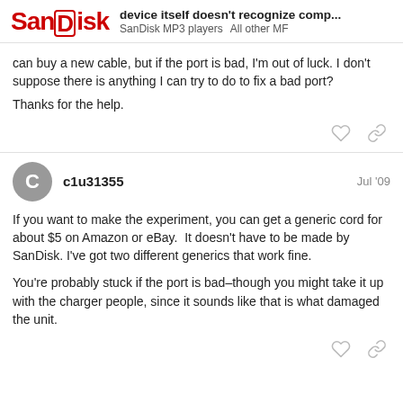device itself doesn't recognize comp... SanDisk MP3 players  All other MF
can buy a new cable, but if the port is bad, I'm out of luck. I don't suppose there is anything I can try to do to fix a bad port?

Thanks for the help.
c1u31355  Jul '09
If you want to make the experiment, you can get a generic cord for about $5 on Amazon or eBay.  It doesn't have to be made by SanDisk. I've got two different generics that work fine.

You're probably stuck if the port is bad–though you might take it up with the charger people, since it sounds like that is what damaged the unit.